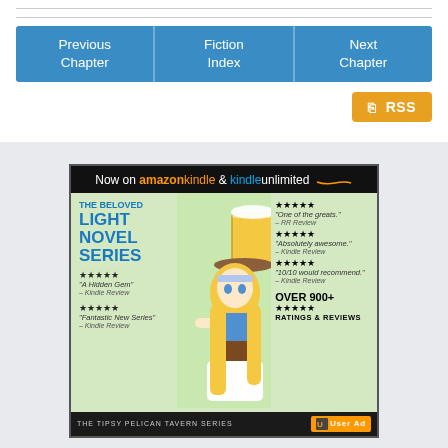| Previous Chapter | Fiction Index | Next Chapter |
| --- | --- | --- |
[Figure (illustration): Advertisement banner for 'The Tipsy Pelican Tavern Series' light novel. Shows anime-style blonde waitress character holding a beer mug. Text includes 'Now on amazon kindle & kindle unlimited', 'THE BELOVED LIGHT NOVEL SERIES', star ratings and reviews including 'A Hidden Gem', 'Fantastic New Series', 'One of the greats.', 'Absolutely awesome.', '10/10 would recommend.', 'OVER 900+ RATINGS & REVIEWS'. Footer reads 'THE TIPSY PELICAN TAVERN SERIES' with 'User Ad' badge.]